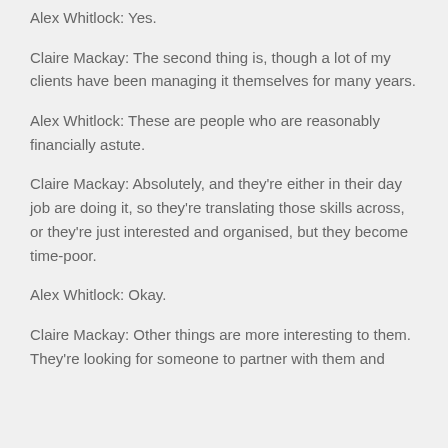Alex Whitlock: Yes.
Claire Mackay: The second thing is, though a lot of my clients have been managing it themselves for many years.
Alex Whitlock: These are people who are reasonably financially astute.
Claire Mackay: Absolutely, and they're either in their day job are doing it, so they're translating those skills across, or they're just interested and organised, but they become time-poor.
Alex Whitlock: Okay.
Claire Mackay: Other things are more interesting to them. They're looking for someone to partner with them and